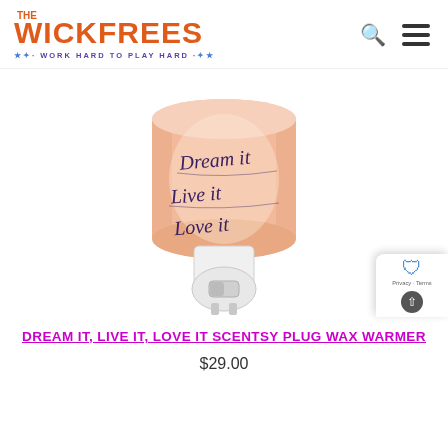[Figure (logo): The Wickfrees logo — orange bold text 'WICKFREES' with 'THE' above it and blue tagline 'WORK HARD TO PLAY HARD' with stars]
[Figure (photo): Scentsy plug-in wax warmer with a peach/salmon cylindrical shade printed with script text 'Dream it Live it Love it', white plug base with a small toggle switch]
DREAM IT, LIVE IT, LOVE IT SCENTSY PLUG WAX WARMER
$29.00